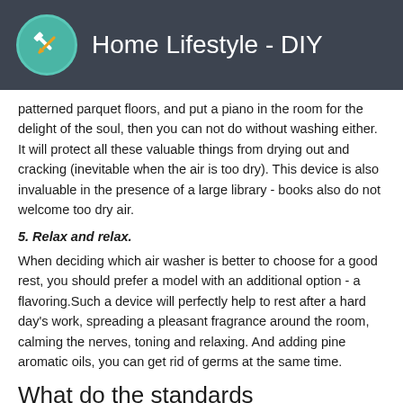Home Lifestyle - DIY
patterned parquet floors, and put a piano in the room for the delight of the soul, then you can not do without washing either. It will protect all these valuable things from drying out and cracking (inevitable when the air is too dry). This device is also invaluable in the presence of a large library - books also do not welcome too dry air.
5. Relax and relax.
When deciding which air washer is better to choose for a good rest, you should prefer a model with an additional option - a flavoring.Such a device will perfectly help to rest after a hard day’s work, spreading a pleasant fragrance around the room, calming the nerves, toning and relaxing. And adding pine aromatic oils, you can get rid of germs at the same time.
What do the standards
say about it? GOST did not fail to define the favorable microclimate in various rooms: this parameter consists mainly of humidity, speed and temperature of air masses. There are indicators that are considered optimal in which the immune system is in a calm state, without working